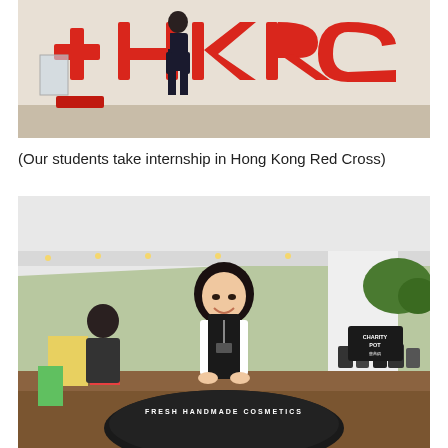[Figure (photo): A student stands in front of large red 3D letters spelling '+HKRC' inside what appears to be the Hong Kong Red Cross headquarters lobby.]
(Our students take internship in Hong Kong Red Cross)
[Figure (photo): A smiling student stands behind a circular black display reading 'Fresh Handmade Cosmetics' at an outdoor market stall under a white tent, with cosmetic products displayed on wooden tables behind her.]